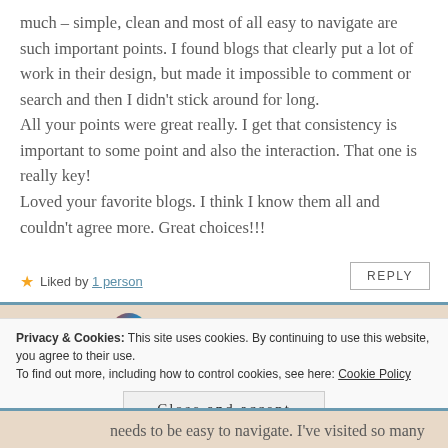much – simple, clean and most of all easy to navigate are such important points. I found blogs that clearly put a lot of work in their design, but made it impossible to comment or search and then I didn't stick around for long.
All your points were great really. I get that consistency is important to some point and also the interaction. That one is really key!
Loved your favorite blogs. I think I know them all and couldn't agree more. Great choices!!!
★ Liked by 1 person
REPLY
[Figure (screenshot): Comment section block with beige/tan background and blue left border, showing a circular avatar photo at top]
Privacy & Cookies: This site uses cookies. By continuing to use this website, you agree to their use.
To find out more, including how to control cookies, see here: Cookie Policy
Close and accept
needs to be easy to navigate. I've visited so many